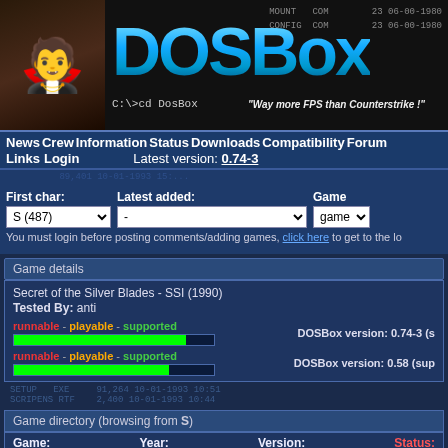[Figure (screenshot): DOSBox website header banner with goblin mascot image on left, DOSBox logo in center, DOS command text on right, tagline 'Way more FPS than Counterstrike!']
News  Crew  Information  Status  Downloads  Compatibility  Forum  Links  Login  Latest version: 0.74-3
First char: S (487)  Latest added: -  Game
You must login before posting comments/adding games, click here to get to the lo
Game details
Secret of the Silver Blades - SSI (1990)
Tested By: anti
runnable - playable - supported
DOSBox version: 0.74-3 (s
runnable - playable - supported
DOSBox version: 0.58 (sup
SETUP EXE   91,264 10-01-1993 10:51
SCRIPENS RTF   2,400 10-01-1993 10:44
Game directory (browsing from S)
Game:  Year:  Version:  Status: